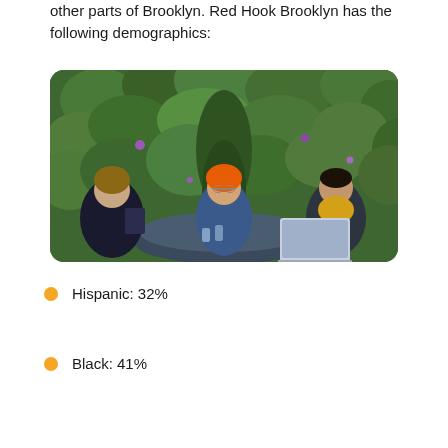other parts of Brooklyn. Red Hook Brooklyn has the following demographics:
[Figure (photo): Three people sitting around a round blue table outdoors, in front of a green ivy-covered wall with purple flowers. The person on the left is a woman smiling, holding a tablet. In the center is a person with orange hair wearing glasses and a blue sweater. On the right is a man smiling, with a laptop open in front of him.]
Hispanic: 32%
Black: 41%